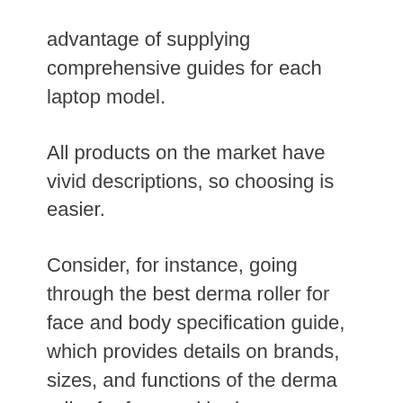advantage of supplying comprehensive guides for each laptop model.
All products on the market have vivid descriptions, so choosing is easier.
Consider, for instance, going through the best derma roller for face and body specification guide, which provides details on brands, sizes, and functions of the derma roller for face and bodys.
What specific feature are you seeking in a derma roller for face and body? At market place, we've got your back. The website offers